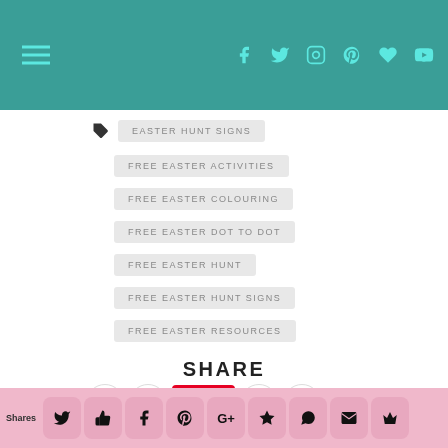Navigation header with social icons
EASTER HUNT SIGNS
FREE EASTER ACTIVITIES
FREE EASTER COLOURING
FREE EASTER DOT TO DOT
FREE EASTER HUNT
FREE EASTER HUNT SIGNS
FREE EASTER RESOURCES
SHARE
Shares social sharing buttons bar